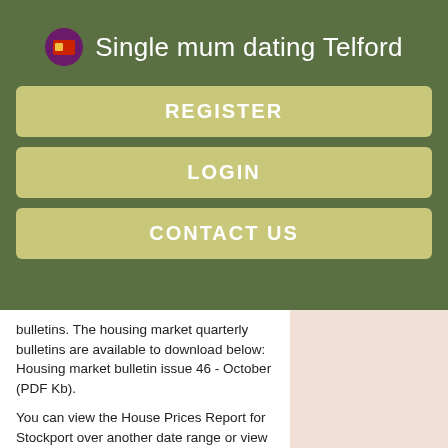Single mum dating Telford
REGISTER
LOGIN
CONTACT US
bulletins. The housing market quarterly bulletins are available to download below: Housing market bulletin issue 46 - October (PDF Kb).
You can view the House Prices Report for Stockport over another date range or view the report for